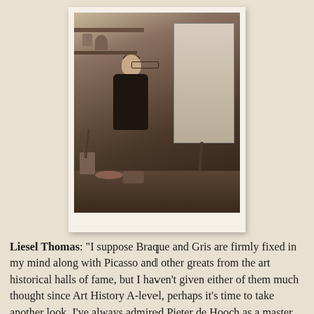[Figure (photo): Black and white vintage photograph of a woman artist standing at an easel in her studio, surrounded by art supplies, shelves with pottery, brushes in jars, and a large canvas on the easel. She wears glasses and dark clothing.]
Liesel Thomas: "I suppose Braque and Gris are firmly fixed in my mind along with Picasso and other greats from the art historical halls of fame, but I haven't given either of them much thought since Art History A-level, perhaps it's time to take another look. I've always admired Pieter de Hooch as a master of composition so it doesn't surprise me that Caulfield was a fan. I have always loved the Beach Boys - it's the 50th anniversary of Pet Sounds this year! I do tend to enjoy American classics, although my tastes are more aligned with Fante, Bukowski and Vonnegut. I also read that"